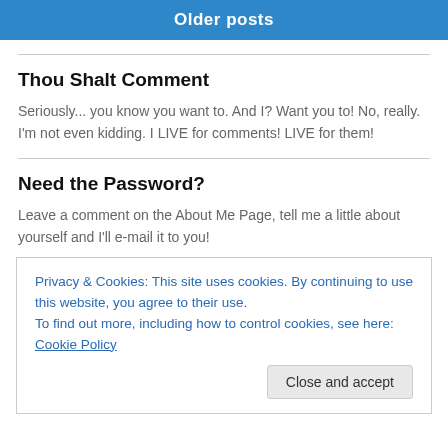Older posts
Thou Shalt Comment
Seriously... you know you want to. And I? Want you to! No, really. I'm not even kidding. I LIVE for comments! LIVE for them!
Need the Password?
Leave a comment on the About Me Page, tell me a little about yourself and I'll e-mail it to you!
Privacy & Cookies: This site uses cookies. By continuing to use this website, you agree to their use.
To find out more, including how to control cookies, see here: Cookie Policy